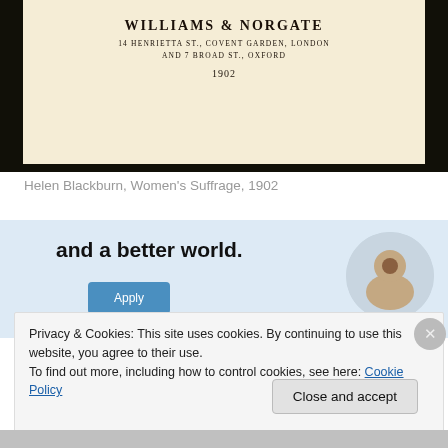[Figure (photo): Photograph of an old book title page showing publisher 'WILLIAMS & NORGATE, 14 HENRIETTA ST., COVENT GARDEN, LONDON AND 7 BROAD ST., OXFORD, 1902' on aged cream paper with dark border]
Helen Blackburn, Women's Suffrage, 1902
[Figure (infographic): Advertisement banner showing text 'and a better world.' with a blue 'Apply' button and a circular photo of a man thinking, on a light blue background]
Privacy & Cookies: This site uses cookies. By continuing to use this website, you agree to their use.
To find out more, including how to control cookies, see here: Cookie Policy
Close and accept